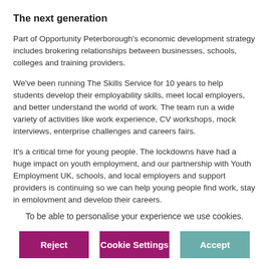The next generation
Part of Opportunity Peterborough's economic development strategy includes brokering relationships between businesses, schools, colleges and training providers.
We've been running The Skills Service for 10 years to help students develop their employability skills, meet local employers, and better understand the world of work. The team run a wide variety of activities like work experience, CV workshops, mock interviews, enterprise challenges and careers fairs.
It's a critical time for young people. The lockdowns have had a huge impact on youth employment, and our partnership with Youth Employment UK, schools, and local employers and support providers is continuing so we can help young people find work, stay in employment and develop their careers.
Their most recent development has been the Inspire series. These challenge students to follow...
To be able to personalise your experience we use cookies.
Reject | Cookie Settings | Accept